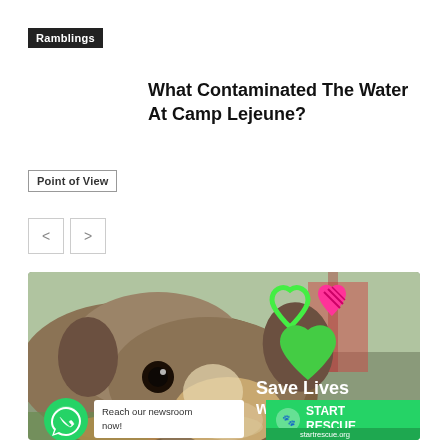Ramblings
What Contaminated The Water At Camp Lejeune?
Point of View
[Figure (photo): Advertisement showing a close-up of a brown and white puppy with heart graphics and text 'Save Lives with us.' with START RESCUE branding, a WhatsApp icon, and a 'Reach our newsroom now!' popup overlay. URL: startrescue.org]